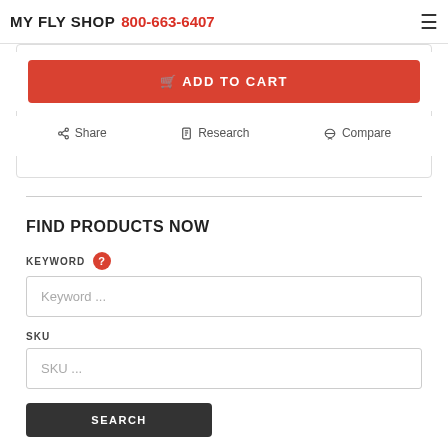MY FLY SHOP 800-663-6407
ADD TO CART
Share  Research  Compare
FIND PRODUCTS NOW
KEYWORD
Keyword ...
SKU
SKU ...